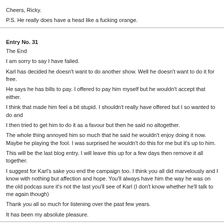Cheers, Ricky.
P.S. He really does have a head like a fucking orange.
Entry No. 31
The End
I am sorry to say I have failed.
Karl has decided he doesn't want to do another show. Well he doesn't want to do it for free.
He says he has bills to pay. I offered to pay him myself but he wouldn't accept that either.
I think that made him feel a bit stupid. I shouldn't really have offered but I so wanted to do and
I then tried to get him to do it as a favour but then he said no altogether.
The whole thing annoyed him so much that he said he wouldn't enjoy doing it now. Maybe he playing the fool. I was surprised he wouldn't do this for me but it's up to him.
This will be the last blog entry. I will leave this up for a few days then remove it all together.
I suggest for Karl's sake you end the campaign too. I think you all did marvelously and I know with nothing but affection and hope. You'll always have him the way he was on the old podcas sure it's not the last you'll see of Karl (I don't know whether he'll talk to me again though)
Thank you all so much for listening over the past few years.
It has been my absolute pleasure.